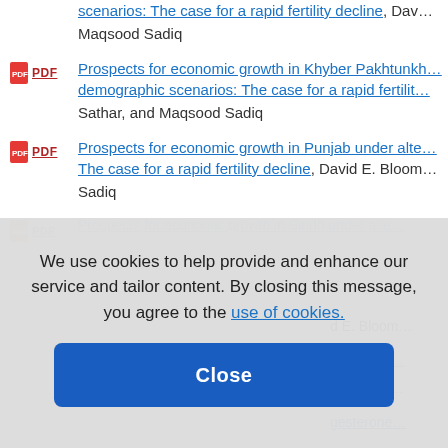scenarios: The case for a rapid fertility decline, David E. Bloom, Maqsood Sadiq
PDF  Prospects for economic growth in Khyber Pakhtunkwa under alternative demographic scenarios: The case for a rapid fertility [decline] — Sathar, and Maqsood Sadiq
PDF  Prospects for economic growth in Punjab under alternative demographic scenarios: The case for a rapid fertility decline, David E. Bloom, ... Maqsood Sadiq
PDF  Prospects for economic growth in Sindh under alternative demographic scenarios: The case for a rapid fertility decline, David E. Bloom, ...
We use cookies to help provide and enhance our service and tailor content. By closing this message, you agree to the use of cookies.